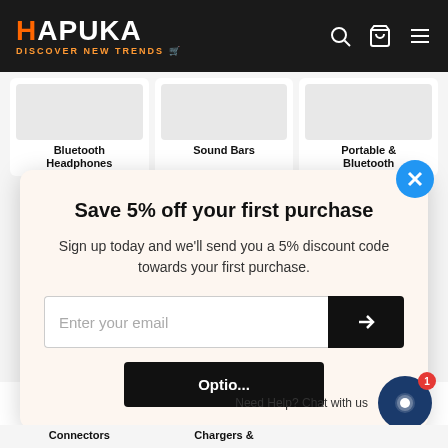HAPUKA — DISCOVER NEW TRENDS
Bluetooth Headphones
Sound Bars
Portable & Bluetooth
Save 5% off your first purchase
Sign up today and we'll send you a 5% discount code towards your first purchase.
Enter your email
Optio...
Need Help? Chat with us
Connectors
Chargers &